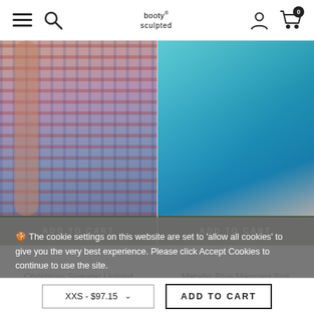booly sculpted — navigation header with menu, search, account, cart (0)
[Figure (photo): Christmas Sweater Unitard product photo — patterned red and blue nordic/fair-isle leggings with ADD TO CART button]
[Figure (photo): Metallic Blue Mermaid Suit product photo — shiny teal/blue leggings with ADD TO CART button]
Christmas Sweater Unitard
$184.15  $147.32
Metallic Blue Mermaid Suit
$121.44  $97.15
🍪 The cookie settings on this website are set to 'allow all cookies' to give you the very best experience. Please click Accept Cookies to continue to use the site.
PRIVACY POLICY  ACCEPT ✓
XXS - $97.15  ∨    ADD TO CART